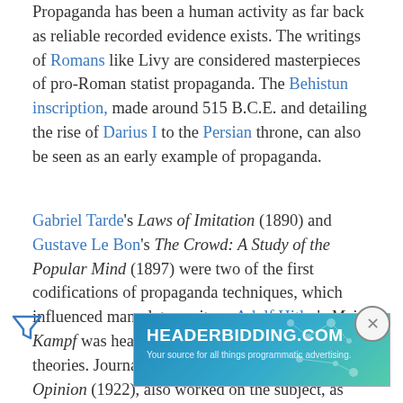Propaganda has been a human activity as far back as reliable recorded evidence exists. The writings of Romans like Livy are considered masterpieces of pro-Roman statist propaganda. The Behistun inscription, made around 515 B.C.E. and detailing the rise of Darius I to the Persian throne, can also be seen as an early example of propaganda.
Gabriel Tarde's Laws of Imitation (1890) and Gustave Le Bon's The Crowd: A Study of the Popular Mind (1897) were two of the first codifications of propaganda techniques, which influenced many later writers. Adolf Hitler's Mein Kampf was heavily influenced by Le Bon's theories. Journalist Walter Lippman, in Public Opinion (1922), also worked on the subject, as well as psychologist Edward L. Bernays, a nephew of Sigmund Freud, early in the twentieth centuries distinguished two different aspects covered by Russian...
[Figure (other): Advertisement banner for HEADERBIDDING.COM with text 'Your source for all things programmatic advertising.' overlaid on the page content.]